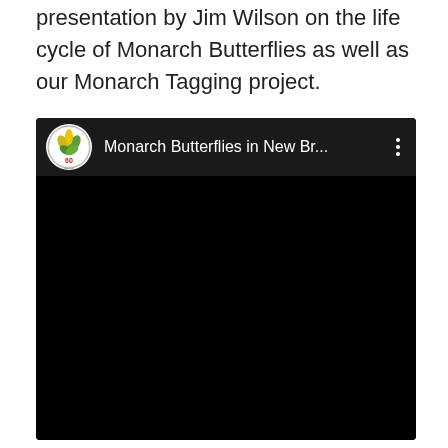presentation by Jim Wilson on the life cycle of Monarch Butterflies as well as our Monarch Tagging project.
[Figure (screenshot): Embedded YouTube video player showing 'Monarch Butterflies in New Br...' with a botanical society channel logo (circular logo with yellow flower/iris and '60 years' text) on a dark background header, and a black video body.]